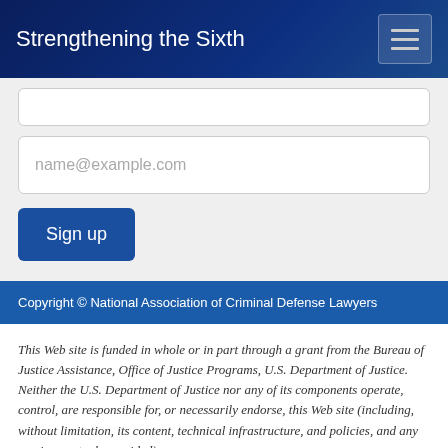Strengthening the Sixth
name@example.com
Sign up
Copyright © National Association of Criminal Defense Lawyers
This Web site is funded in whole or in part through a grant from the Bureau of Justice Assistance, Office of Justice Programs, U.S. Department of Justice. Neither the U.S. Department of Justice nor any of its components operate, control, are responsible for, or necessarily endorse, this Web site (including, without limitation, its content, technical infrastructure, and policies, and any services or tools provided).